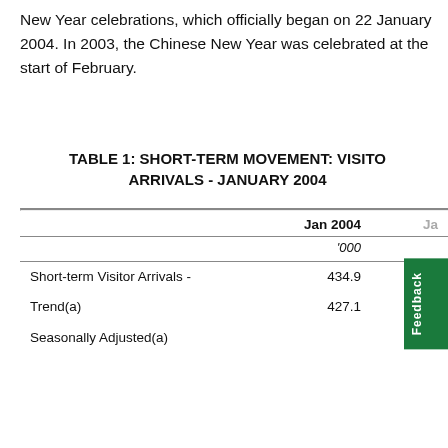New Year celebrations, which officially began on 22 January 2004. In 2003, the Chinese New Year was celebrated at the start of February.
TABLE 1: SHORT-TERM MOVEMENT: VISITOR ARRIVALS - JANUARY 2004
|  | Jan 2004 | Ja... |
| --- | --- | --- |
|  | '000 |  |
| Short-term Visitor Arrivals - | 434.9 |  |
| Trend(a) | 427.1 |  |
| Seasonally Adjusted(a) |  |  |